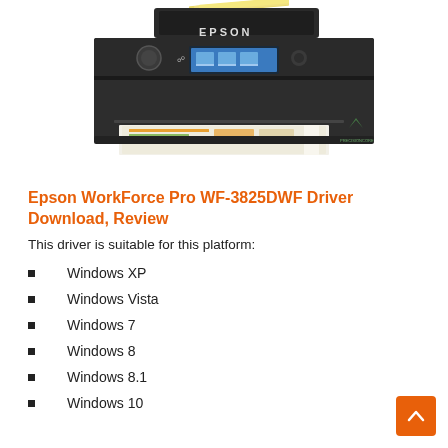[Figure (photo): Epson WorkForce Pro WF-3825DWF all-in-one printer, dark grey/black color, with paper loaded in ADF tray on top and printed pages coming out of the front output tray. The Epson logo is visible on the front panel.]
Epson WorkForce Pro WF-3825DWF Driver Download, Review
This driver is suitable for this platform:
Windows XP
Windows Vista
Windows 7
Windows 8
Windows 8.1
Windows 10